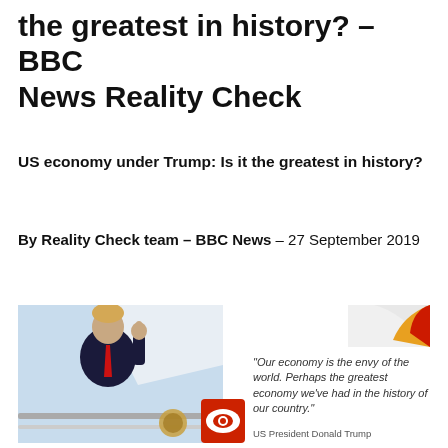the greatest in history? – BBC News Reality Check
US economy under Trump: Is it the greatest in history?
By Reality Check team – BBC News – 27 September 2019
[Figure (photo): Photo of US President Donald Trump giving thumbs up, alongside a quote card: 'Our economy is the envy of the world. Perhaps the greatest economy we've had in the history of our country.' Attribution: US President Donald Trump]